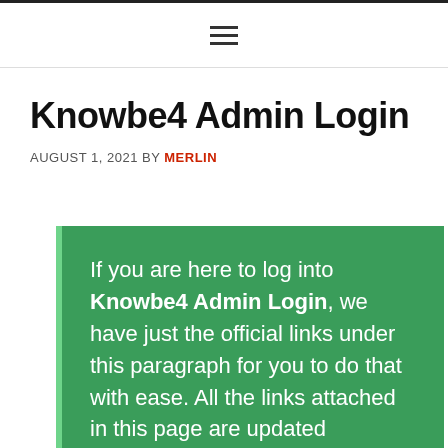≡
Knowbe4 Admin Login
AUGUST 1, 2021 BY MERLIN
If you are here to log into Knowbe4 Admin Login, we have just the official links under this paragraph for you to do that with ease. All the links attached in this page are updated constantly, so whenever you feel unsure, you can